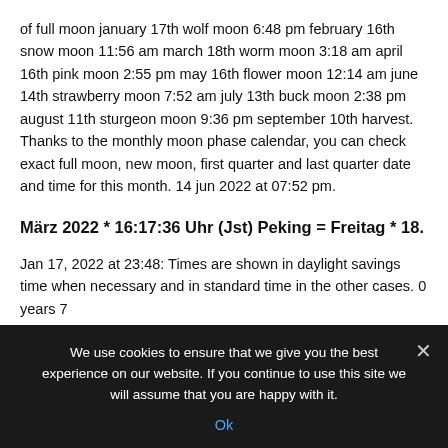of full moon january 17th wolf moon 6:48 pm february 16th snow moon 11:56 am march 18th worm moon 3:18 am april 16th pink moon 2:55 pm may 16th flower moon 12:14 am june 14th strawberry moon 7:52 am july 13th buck moon 2:38 pm august 11th sturgeon moon 9:36 pm september 10th harvest. Thanks to the monthly moon phase calendar, you can check exact full moon, new moon, first quarter and last quarter date and time for this month. 14 jun 2022 at 07:52 pm.
März 2022 * 16:17:36 Uhr (Jst) Peking = Freitag * 18.
Jan 17, 2022 at 23:48: Times are shown in daylight savings time when necessary and in standard time in the other cases. 0 years 7 months 10 hours 51 mins 21 mins...
We use cookies to ensure that we give you the best experience on our website. If you continue to use this site we will assume that you are happy with it.
Ok